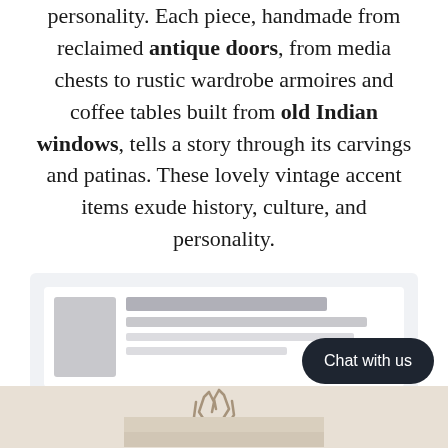personality. Each piece, handmade from reclaimed antique doors, from media chests to rustic wardrobe armoires and coffee tables built from old Indian windows, tells a story through its carvings and patinas. These lovely vintage accent items exude history, culture, and personality.
[Figure (screenshot): Product card UI with thumbnail image placeholder, text bars, and a red 'Buy now' button]
Chat with us
[Figure (photo): Bottom portion of page showing a decorative antler/stag image on a light beige background]